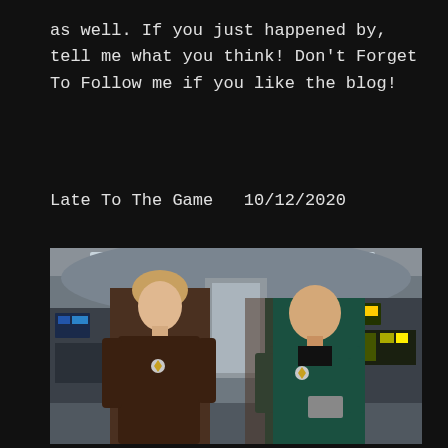as well. If you just happened by, tell me what you think! Don't Forget To Follow me if you like the blog!
Late To The Game  10/12/2020
[Figure (photo): Two Star Trek Voyager characters (Seven of Nine and The Doctor) standing in what appears to be the ship's sickbay or corridor, facing each other in conversation. Seven of Nine wears a brown biosuit with a Starfleet combadge; The Doctor wears a teal/green Starfleet uniform. Background shows curved Federation-style consoles and panels.]